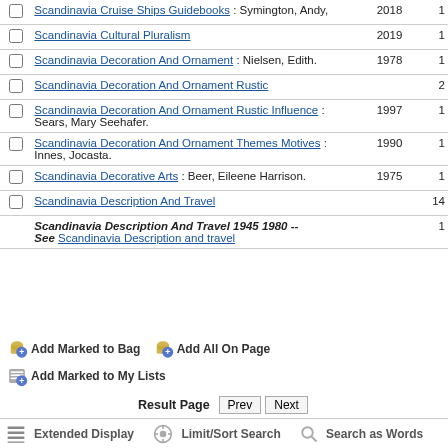|  | Title | Year | Count |
| --- | --- | --- | --- |
| ☐ | Scandinavia Cruise Ships Guidebooks : Symington, Andy, | 2018 | 1 |
| ☐ | Scandinavia Cultural Pluralism | 2019 | 1 |
| ☐ | Scandinavia Decoration And Ornament : Nielsen, Edith. | 1978 | 1 |
| ☐ | Scandinavia Decoration And Ornament Rustic |  | 2 |
| ☐ | Scandinavia Decoration And Ornament Rustic Influence : Sears, Mary Seehafer. | 1997 | 1 |
| ☐ | Scandinavia Decoration And Ornament Themes Motives : Innes, Jocasta. | 1990 | 1 |
| ☐ | Scandinavia Decorative Arts : Beer, Eileene Harrison. | 1975 | 1 |
| ☐ | Scandinavia Description And Travel |  | 14 |
|  | Scandinavia Description And Travel 1945 1980 -- See Scandinavia Description and travel |  | 1 |
Add Marked to Bag  Add All On Page  Add Marked to My Lists
Result Page  Prev  Next
Extended Display  Limit/Sort Search  Search as Words